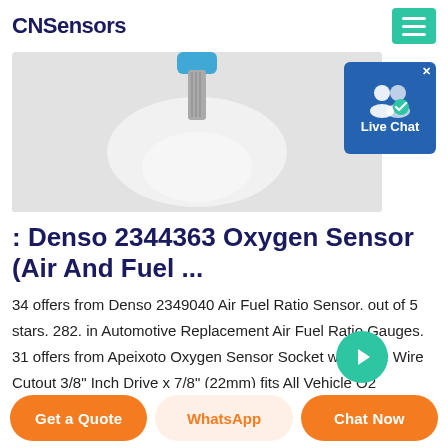CNSensors
[Figure (photo): Product image of an oxygen sensor against a light grey background, showing top of sensor with blue connector and white probe tip]
: Denso 2344363 Oxygen Sensor (Air And Fuel ...
34 offers from Denso 2349040 Air Fuel Ratio Sensor. out of 5 stars. 282. in Automotive Replacement Air Fuel Ratio Gauges. 31 offers from Apeixoto Oxygen Sensor Socket with Side Wire Cutout 3/8" Inch Drive x 7/8" (22mm) fits All Vehicle O2 Removal and Installation Offset Oxygen Sensor